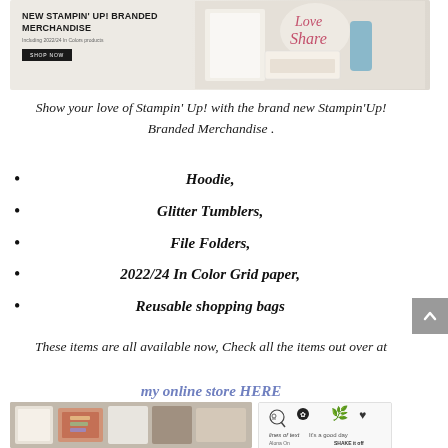[Figure (photo): Banner showing NEW STAMPIN' UP! BRANDED MERCHANDISE with product images including bags, tumblers, stationery on a beige background with a Shop Now button]
Show your love of Stampin' Up! with the brand new Stampin'Up! Branded Merchandise .
Hoodie,
Glitter Tumblers,
File Folders,
2022/24 In Color Grid paper,
Reusable shopping bags
These items are all available now, Check all the items out over at
my online store HERE
[Figure (photo): Photo of Stampin' Up! branded merchandise including notebooks, stickers, and craft supplies]
[Figure (photo): Preview image of stamp icons and doodles including smiley face, flower, leaf, heart, and text stamps]